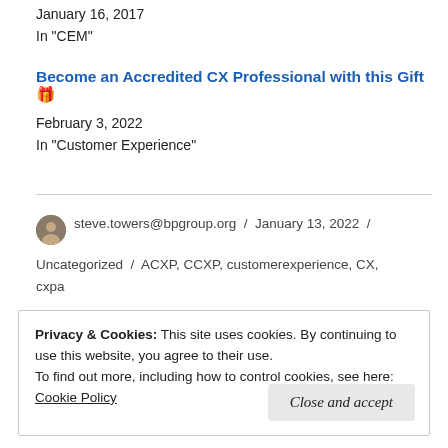January 16, 2017
In "CEM"
Become an Accredited CX Professional with this Gift 🎁
February 3, 2022
In "Customer Experience"
steve.towers@bpgroup.org / January 13, 2022 / Uncategorized / ACXP, CCXP, customerexperience, CX, cxpa
Privacy & Cookies: This site uses cookies. By continuing to use this website, you agree to their use.
To find out more, including how to control cookies, see here: Cookie Policy